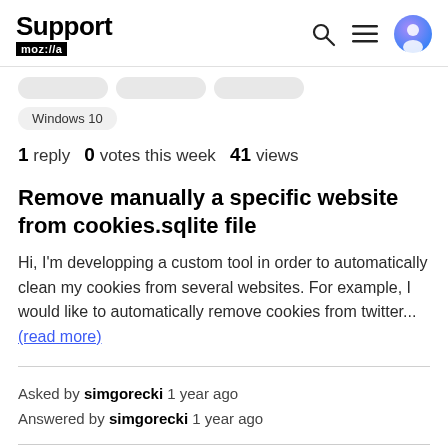Support moz://a
Windows 10
1 reply   0 votes this week   41 views
Remove manually a specific website from cookies.sqlite file
Hi, I'm developping a custom tool in order to automatically clean my cookies from several websites. For example, I would like to automatically remove cookies from twitter... (read more)
Asked by simgorecki 1 year ago
Answered by simgorecki 1 year ago